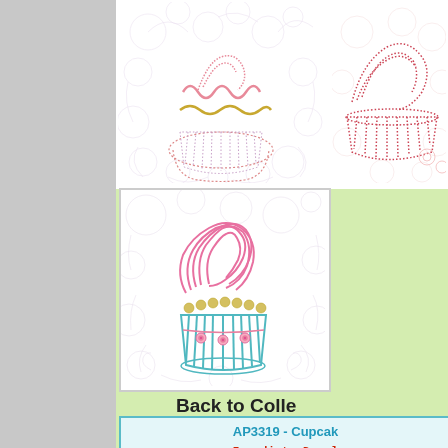[Figure (illustration): Embroidery design of a cupcake with pink zig-zag frosting and yellow wavy lines, on a floral lace background (top-left image)]
[Figure (illustration): Embroidery design of a cupcake in red/pink outline style on a floral lace background (top-right image, partially visible)]
[Figure (illustration): Embroidery design of a large colorful cupcake with pink swirled frosting, yellow pearls, and teal cup on a floral lace background (center image)]
Back to Colle
| AP3319 - Cupcak... | Immediate Downl... |
| --- | --- |
| Formats Available : PES JEF HU... |
| 4x4 Hoop Size |